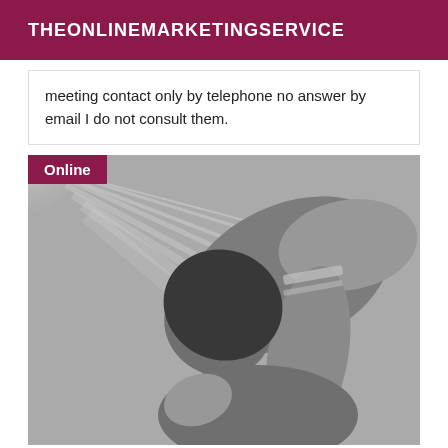THEONLINEMARKETINGSERVICE
meeting contact only by telephone no answer by email I do not consult them.
[Figure (photo): Black and white photograph of a person bending forward, wearing a sleeveless top, with light rays in the upper left corner. An 'Online' badge in dark pink/maroon appears in the upper left of the image.]